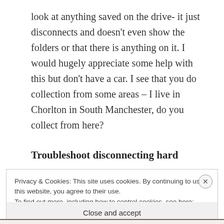look at anything saved on the drive- it just disconnects and doesn't even show the folders or that there is anything on it. I would hugely appreciate some help with this but don't have a car. I see that you do collection from some areas – I live in Chorlton in South Manchester, do you collect from here?
Troubleshoot disconnecting hard
Privacy & Cookies: This site uses cookies. By continuing to use this website, you agree to their use.
To find out more, including how to control cookies, see here: Cookie Policy
Close and accept